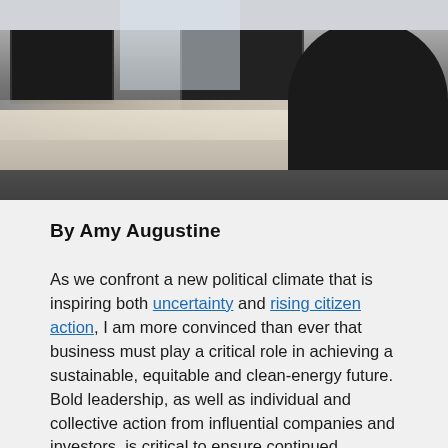[Figure (photo): Office scene with people working at desks with monitors, coffee cups and drinks visible on desk surface, person in dark clothing visible on right side.]
By Amy Augustine
As we confront a new political climate that is inspiring both uncertainty and rising citizen action, I am more convinced than ever that business must play a critical role in achieving a sustainable, equitable and clean-energy future. Bold leadership, as well as individual and collective action from influential companies and investors, is critical to ensure continued progress in